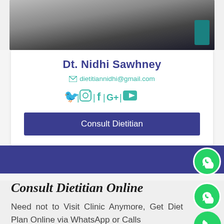[Figure (photo): Partial photo of a person near a desk/table, mostly cropped, dark tones]
Dt. Nidhi Sawhney
dietitiannidhi@gmail.com
[Figure (infographic): Social media icons: Twitter, Instagram, Facebook, Google+, YouTube in teal color]
Consult Dietitian
Consult Dietitian Online
Need not to Visit Clinic Anymore, Get Diet Plan Online via WhatsApp or Calls